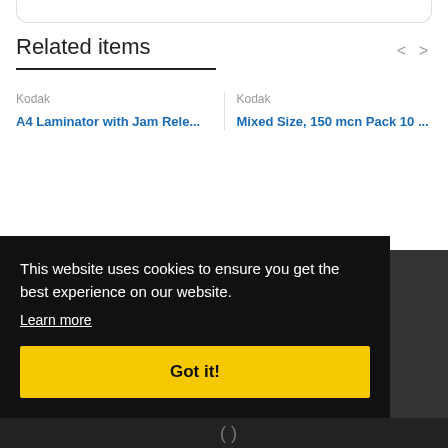Related items
Kodak
A4 Laminator with Jam Rele...
Kodak
Mixed Size, 150 mcn Pack 10 ...
This website uses cookies to ensure you get the best experience on our website.
Learn more
Got it!